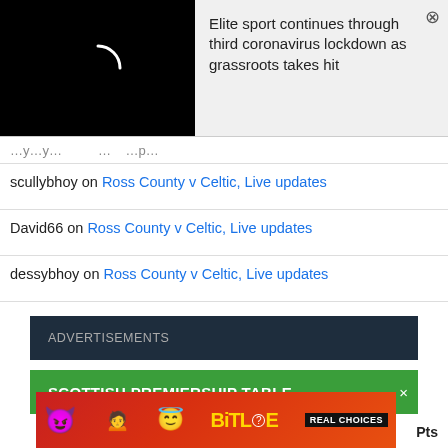[Figure (screenshot): Popup overlay with a black video thumbnail on the left showing a loading spinner arc, and a light grey text area on the right with a close button (X).]
Elite sport continues through third coronavirus lockdown as grassroots takes hit
scullybhoy on Ross County v Celtic, Live updates
David66 on Ross County v Celtic, Live updates
dessybhoy on Ross County v Celtic, Live updates
ADVERTISEMENTS
SCOTTISH PREMIERSHIP TABLE
[Figure (screenshot): Advertisement banner for BitLife game with emojis and text 'REAL CHOICES' on a red gradient background.]
Pts